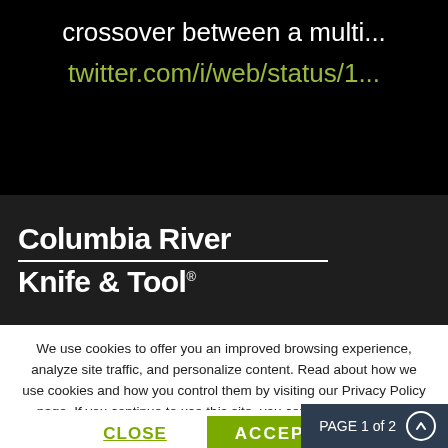crossover between a multi...
twitter.com/i/web/status/1...
[Figure (logo): Columbia River Knife & Tool logo on dark background]
We use cookies to offer you an improved browsing experience, analyze site traffic, and personalize content. Read about how we use cookies and how you control them by visiting our Privacy Policy page. If you continue to use this site, you consent to our use of cookies.https://www.crkt.com/privacy-policy
CLOSE
ACCEPT
PAGE 1 of 2